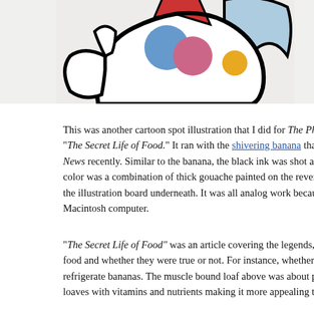[Figure (illustration): Partial view of a cartoon illustration showing an abstract muscle-bound loaf shape with bold black outlines, featuring colorful geometric shapes: a blue circle, pink/red circle, red triangle, yellow circle, and light blue background shapes. The illustration is cropped at the top of the page.]
This was another cartoon spot illustration that I did for The Philadelphia Inquirer Magazine, "The Secret Life of Food." It ran with the shivering banana that ran in the Philadelphia Daily News recently. Similar to the banana, the black ink was shot as a linework film and the color was a combination of thick gouache painted on the reverse side of acetate placed over the illustration board underneath. It was all analog work because I had just gotten my first Macintosh computer.
"The Secret Life of Food" was an article covering the legends, myths and lore of food and whether they were true or not. For instance, whether consumers should refrigerate bananas. The muscle bound loaf above was about pumping up your bread loaves with vitamins and nutrients making it more appealing to consumers.